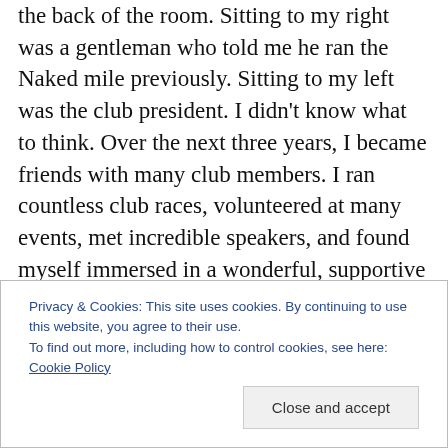the back of the room. Sitting to my right was a gentleman who told me he ran the Naked mile previously. Sitting to my left was the club president. I didn't know what to think. Over the next three years, I became friends with many club members. I ran countless club races, volunteered at many events, met incredible speakers, and found myself immersed in a wonderful, supportive running community. That naked miler, also known to the world as Steven Sisco, is now one of my dear friends and one of my favorite people to run with (especially with headlamps). The club president, Steve Hailer, is not only a friend, but a
Privacy & Cookies: This site uses cookies. By continuing to use this website, you agree to their use.
To find out more, including how to control cookies, see here: Cookie Policy